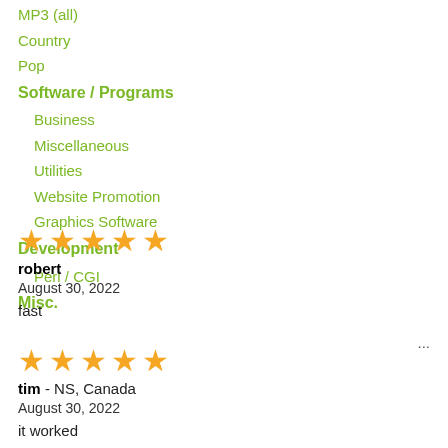MP3 (all)
Country
Pop
Software / Programs
Business
Miscellaneous
Utilities
Website Promotion
Graphics Software
Development
Perl / CGI
Misc.
robert
August 30, 2022

fast

...
tim  - NS, Canada
August 30, 2022

it worked

...